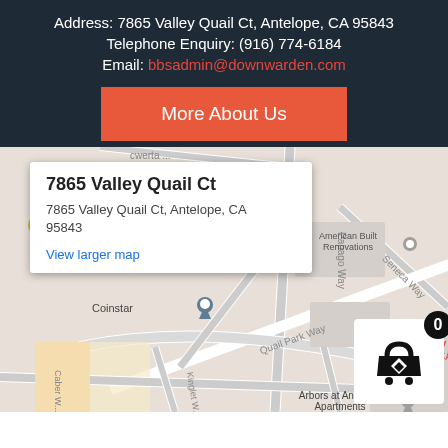Address: 7865 Valley Quail Ct, Antelope, CA 95843
Telephone Enquiry: (916) 774-6184
Email: bbsadmin@downwarden.com
More About Us
[Figure (map): Google Maps embed showing 7865 Valley Quail Ct, Antelope, CA 95843 with a popup info window and red map pin marker. Nearby labels include Coinstar, American Built Renovations, Arbors at Antelope Apartments, Papago Way, Seneca Way, Quail Park Way.]